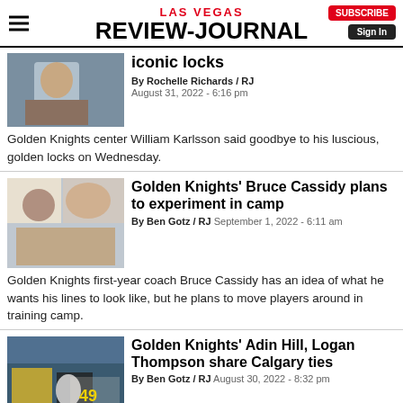LAS VEGAS REVIEW-JOURNAL
iconic locks
By Rochelle Richards / RJ
August 31, 2022 - 6:16 pm
Golden Knights center William Karlsson said goodbye to his luscious, golden locks on Wednesday.
Golden Knights' Bruce Cassidy plans to experiment in camp
By Ben Gotz / RJ  September 1, 2022 - 6:11 am
Golden Knights first-year coach Bruce Cassidy has an idea of what he wants his lines to look like, but he plans to move players around in training camp.
Golden Knights' Adin Hill, Logan Thompson share Calgary ties
By Ben Gotz / RJ  August 30, 2022 - 8:32 pm
Adin Hill said he and fellow Golden Knights goaltender Logan
[Figure (infographic): Advertisement banner: Prevent and eliminate runoff - Water Smart logo]